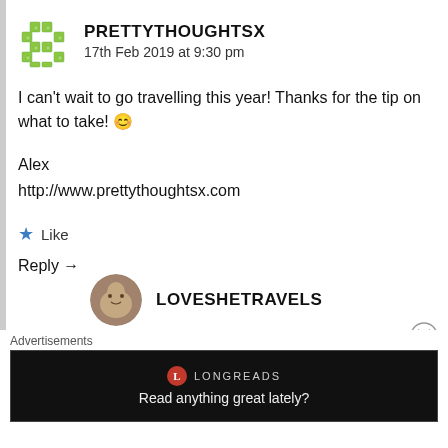PRETTYTHOUGHTSX
17th Feb 2019 at 9:30 pm
I can't wait to go travelling this year! Thanks for the tip on what to take! 😊
Alex
http://www.prettythoughtsx.com
★ Like
Reply →
LOVESHETRAVELS
Advertisements
[Figure (screenshot): Longreads advertisement banner with text 'Read anything great lately?']